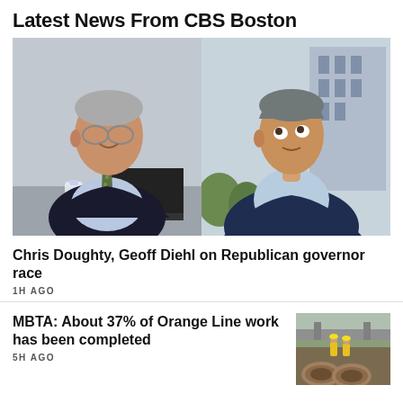Latest News From CBS Boston
[Figure (photo): Two men shown side by side: on the left, an older man with glasses in a dark suit and patterned tie sitting at a desk with a laptop, water bottle and drink can visible; on the right, a younger man in a navy suit with an open-collar light blue shirt, looking upward outdoors with a building in the background.]
Chris Doughty, Geoff Diehl on Republican governor race
1H AGO
MBTA: About 37% of Orange Line work has been completed
5H AGO
[Figure (photo): Construction workers in yellow safety vests working in a trench with large pipes, highway overpass visible in background.]